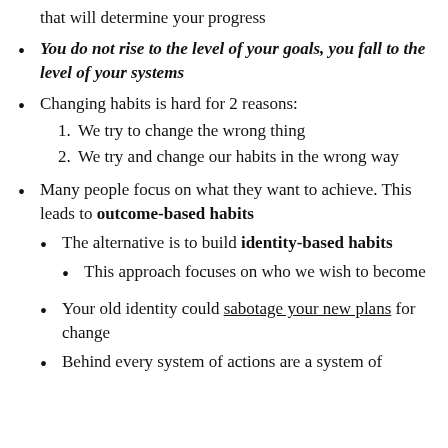that will determine your progress
You do not rise to the level of your goals, you fall to the level of your systems
Changing habits is hard for 2 reasons: 1. We try to change the wrong thing 2. We try and change our habits in the wrong way
Many people focus on what they want to achieve. This leads to outcome-based habits
The alternative is to build identity-based habits
This approach focuses on who we wish to become
Your old identity could sabotage your new plans for change
Behind every system of actions are a system of